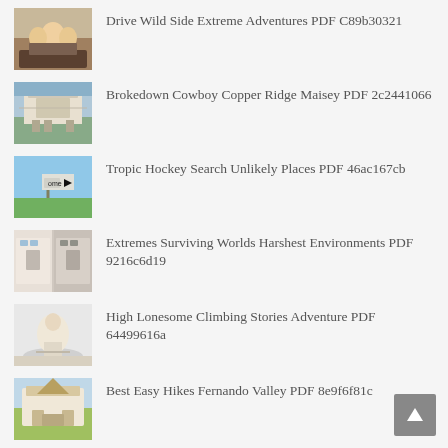Drive Wild Side Extreme Adventures PDF C89b30321
Brokedown Cowboy Copper Ridge Maisey PDF 2c2441066
Tropic Hockey Search Unlikely Places PDF 46ac167cb
Extremes Surviving Worlds Harshest Environments PDF 9216c6d19
High Lonesome Climbing Stories Adventure PDF 64499616a
Best Easy Hikes Fernando Valley PDF 8e9f6f81c
Allagash Guide Canoe Famous Waterway PDF Df6636b6a